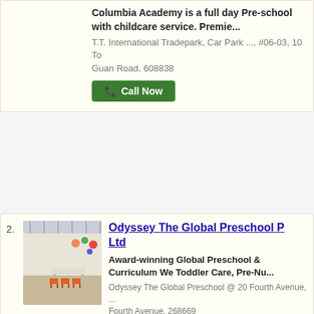Columbia Academy is a full day Pre-school with childcare service. Premie...
T.T. International Tradepark, Car Park ..., #06-03, 10 Tо Guan Road, 608838
Call Now
2.
[Figure (photo): Interior photo of a preschool classroom with tables, orange chairs, and colorful decorations on the walls]
Odyssey The Global Preschool P Ltd
Award-winning Global Preschool & Curriculum We Toddler Care, Pre-Nu...
Odyssey The Global Preschool @ 20 Fourth Avenue, ... Fourth Avenue, 268669
Call Now